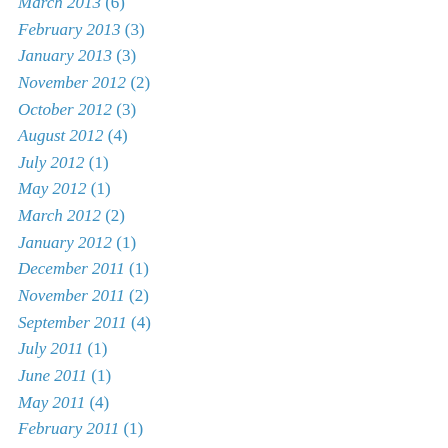March 2013 (6)
February 2013 (3)
January 2013 (3)
November 2012 (2)
October 2012 (3)
August 2012 (4)
July 2012 (1)
May 2012 (1)
March 2012 (2)
January 2012 (1)
December 2011 (1)
November 2011 (2)
September 2011 (4)
July 2011 (1)
June 2011 (1)
May 2011 (4)
February 2011 (1)
November 2010 (1)
August 2010 (3)
July 2010 (1)